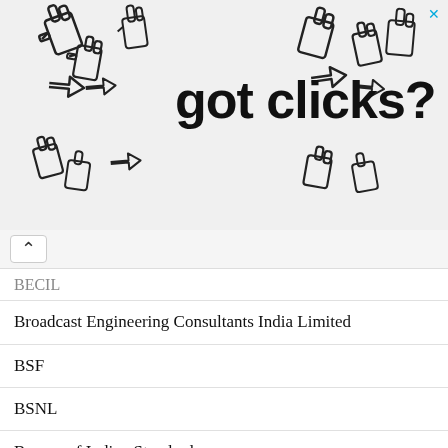[Figure (illustration): Advertisement banner with cursor/hand icons and text 'got clicks?' with a close X button in the top right]
BECIL
Broadcast Engineering Consultants India Limited
BSF
BSNL
Bureau of Indian Standards
Bus Marshals
CA
Cabinet Secretariat
canara bank
Cantonment Board
Cashier